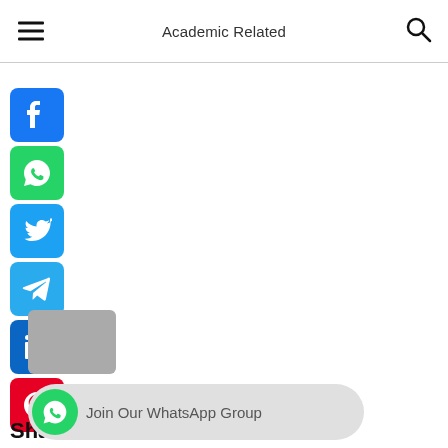Academic Related
[Figure (illustration): Social media share buttons column: Facebook (blue), WhatsApp (green), Twitter (blue), Telegram (light blue), LinkedIn (dark blue), Pinterest (red)]
Share
[Figure (illustration): WhatsApp group join banner with green WhatsApp icon and text: Join Our WhatsApp Group]